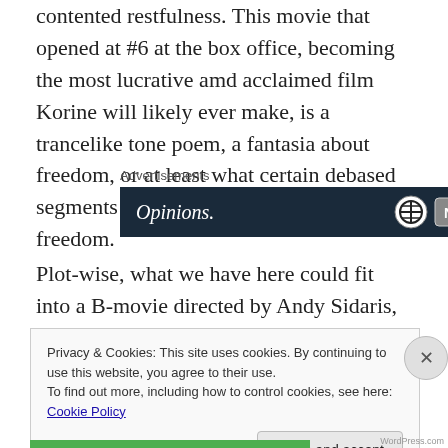contented restfulness. This movie that opened at #6 at the box office, becoming the most lucrative amd acclaimed film Korine will likely ever make, is a trancelike tone poem, a fantasia about freedom, or at least what certain debased segments of American culture consider freedom.
[Figure (screenshot): Advertisement banner with dark navy background showing the word 'Opinions.' in white italic text on the left, and two circular icons (WordPress logo and another small icon) on the right. Labeled 'Advertisements' above.]
Plot-wise, what we have here could fit into a B-movie directed by Andy Sidaris, T.V. Mikels, or Russ Meyer. Four
Privacy & Cookies: This site uses cookies. By continuing to use this website, you agree to their use.
To find out more, including how to control cookies, see here: Cookie Policy
Close and accept